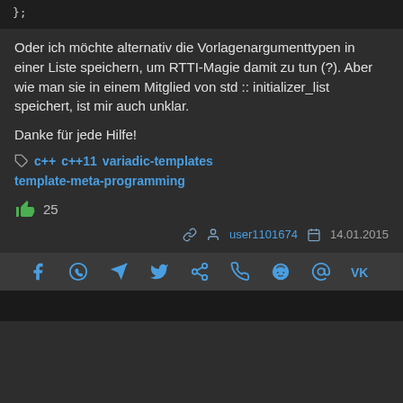};
Oder ich möchte alternativ die Vorlagenargumenttypen in einer Liste speichern, um RTTI-Magie damit zu tun (?). Aber wie man sie in einem Mitglied von std :: initializer_list speichert, ist mir auch unklar.

Danke für jede Hilfe!
c++  c++11  variadic-templates  template-meta-programming
25
user1101674  14.01.2015
[Figure (infographic): Social sharing bar with icons for Facebook, WhatsApp, Telegram, Twitter, share, phone/viber, Reddit, email, VK]
Bottom preview bar